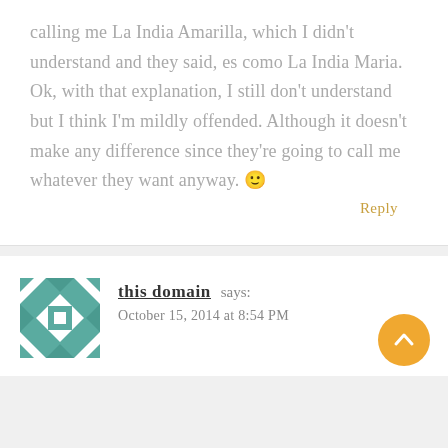calling me La India Amarilla, which I didn't understand and they said, es como La India Maria. Ok, with that explanation, I still don't understand but I think I'm mildly offended. Although it doesn't make any difference since they're going to call me whatever they want anyway. 🙂
Reply
this domain says:
October 15, 2014 at 8:54 PM